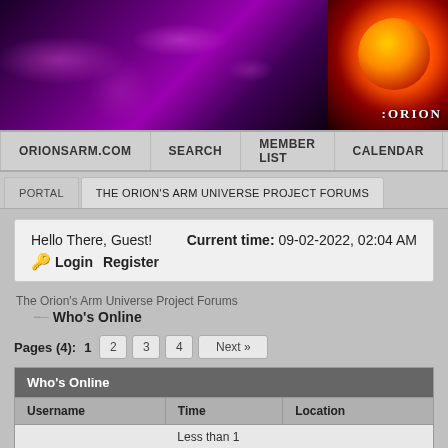[Figure (illustration): Purple nebula/space banner with orange glowing orb logo and ORION text on the right side]
ORIONSARM.COM | SEARCH | MEMBER LIST | CALENDAR | HELP
PORTAL | THE ORION'S ARM UNIVERSE PROJECT FORUMS
Hello There, Guest!  Current time: 09-02-2022, 02:04 AM
🔑 Login   Register
The Orion's Arm Universe Project Forums
Who's Online
Pages (4): 1  2  3  4  Next »
| Username | Time | Location |
| --- | --- | --- |
|  | Less than 1 |  |